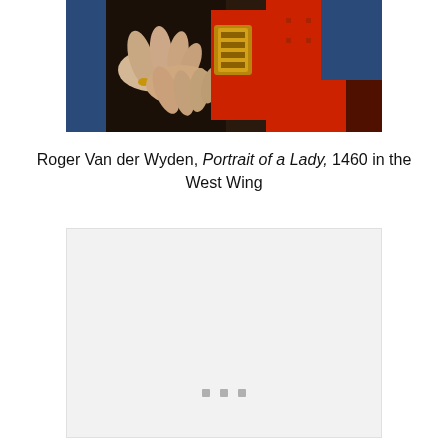[Figure (photo): Close-up of hands clasped together, with ornate golden decorative object and red/blue clothing visible — detail from a painting]
Roger Van der Wyden, Portrait of a Lady, 1460 in the West Wing
[Figure (photo): Large light gray/white rectangular area — appears to be a loading or blank image placeholder with three small gray dots near the bottom center]